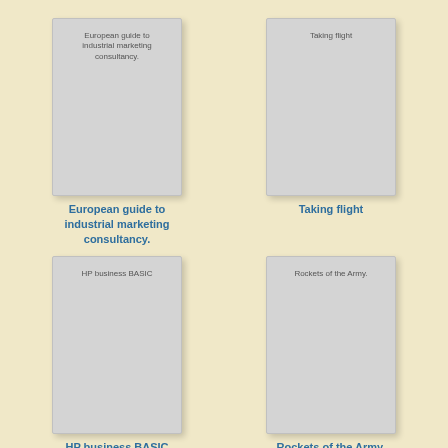[Figure (illustration): Book cover placeholder for 'European guide to industrial marketing consultancy.']
[Figure (illustration): Book cover placeholder for 'Taking flight']
European guide to industrial marketing consultancy.
Taking flight
[Figure (illustration): Book cover placeholder for 'HP business BASIC']
[Figure (illustration): Book cover placeholder for 'Rockets of the Army.']
HP business BASIC
Rockets of the Army.